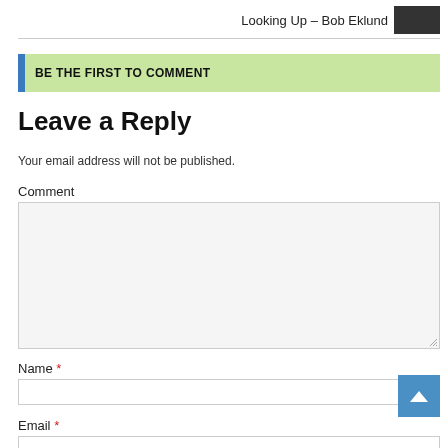Looking Up – Bob Eklund
BE THE FIRST TO COMMENT
Leave a Reply
Your email address will not be published.
Comment
Name *
Email *